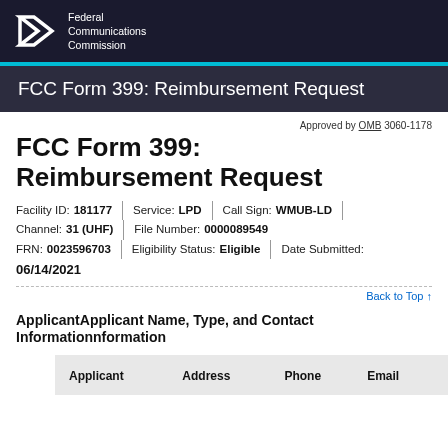[Figure (logo): FCC logo with Federal Communications Commission text on dark background]
FCC Form 399: Reimbursement Request
Approved by OMB 3060-1178
FCC Form 399: Reimbursement Request
Facility ID: 181177 | Service: LPD | Call Sign: WMUB-LD | Channel: 31 (UHF) | File Number: 0000089549 | FRN: 0023596703 | Eligibility Status: Eligible | Date Submitted: 06/14/2021
Back to Top ↑
Applicant Information
Applicant Name, Type, and Contact Information
| Applicant | Address | Phone | Email |
| --- | --- | --- | --- |